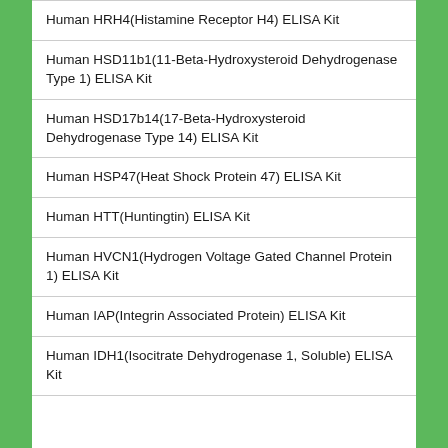Human HRH4(Histamine Receptor H4) ELISA Kit
Human HSD11b1(11-Beta-Hydroxysteroid Dehydrogenase Type 1) ELISA Kit
Human HSD17b14(17-Beta-Hydroxysteroid Dehydrogenase Type 14) ELISA Kit
Human HSP47(Heat Shock Protein 47) ELISA Kit
Human HTT(Huntingtin) ELISA Kit
Human HVCN1(Hydrogen Voltage Gated Channel Protein 1) ELISA Kit
Human IAP(Integrin Associated Protein) ELISA Kit
Human IDH1(Isocitrate Dehydrogenase 1, Soluble) ELISA Kit